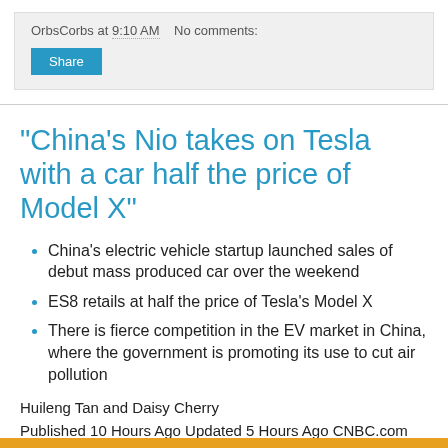OrbsCorbs at 9:10 AM   No comments:
"China's Nio takes on Tesla with a car half the price of Model X"
China's electric vehicle startup launched sales of debut mass produced car over the weekend
ES8 retails at half the price of Tesla's Model X
There is fierce competition in the EV market in China, where the government is promoting its use to cut air pollution
Huileng Tan and Daisy Cherry
Published 10 Hours Ago Updated 5 Hours Ago CNBC.com